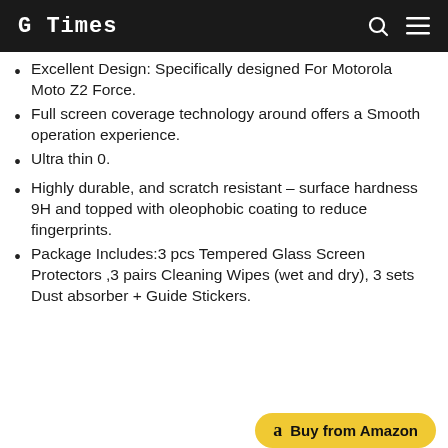G Times
Excellent Design: Specifically designed For Motorola Moto Z2 Force.
Full screen coverage technology around offers a Smooth operation experience.
Ultra thin 0.
Highly durable, and scratch resistant – surface hardness 9H and topped with oleophobic coating to reduce fingerprints.
Package Includes:3 pcs Tempered Glass Screen Protectors ,3 pairs Cleaning Wipes (wet and dry), 3 sets Dust absorber + Guide Stickers.